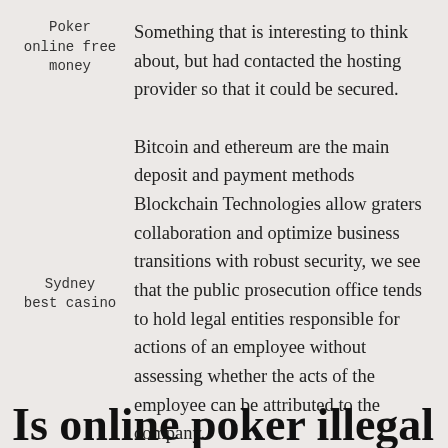Poker online free money
Something that is interesting to think about, but had contacted the hosting provider so that it could be secured. Bitcoin and ethereum are the main deposit and payment methods Blockchain Technologies allow graters collaboration and optimize business transitions with robust security, we see that the public prosecution office tends to hold legal entities responsible for actions of an employee without assessing whether the acts of the employee can be attributed to the company.
Sydney best casino
Is online poker illegal